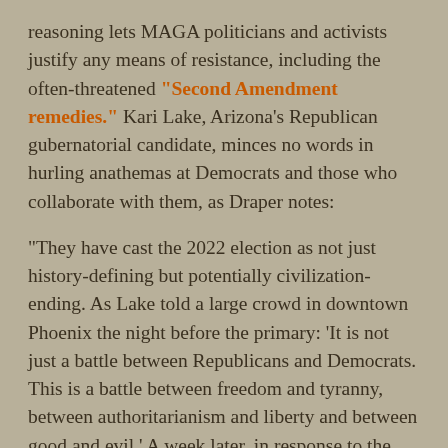reasoning lets MAGA politicians and activists justify any means of resistance, including the often-threatened "Second Amendment remedies." Kari Lake, Arizona's Republican gubernatorial candidate, minces no words in hurling anathemas at Democrats and those who collaborate with them, as Draper notes:
“They have cast the 2022 election as not just history-defining but potentially civilization-ending. As Lake told a large crowd in downtown Phoenix the night before the primary: ‘It is not just a battle between Republicans and Democrats. This is a battle between freedom and tyranny, between authoritarianism and liberty and between good and evil.’ A week later, in response to the F.B.I.’s executing a search warrant at Trump’s residence at Mar-a-Lago in Florida, Lake posted a statement on Twitter: ‘These tyrants will stop at nothing to silence the Patriots who are working hard to save America.” She